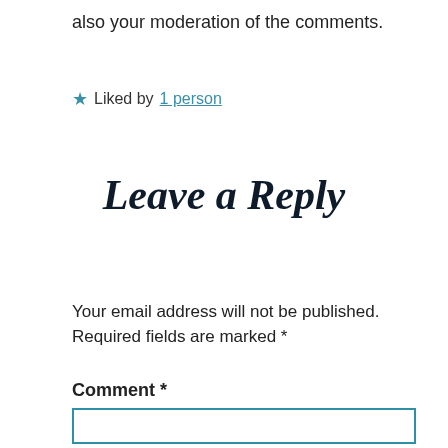also your moderation of the comments.
★ Liked by 1 person
Leave a Reply
Your email address will not be published. Required fields are marked *
Comment *